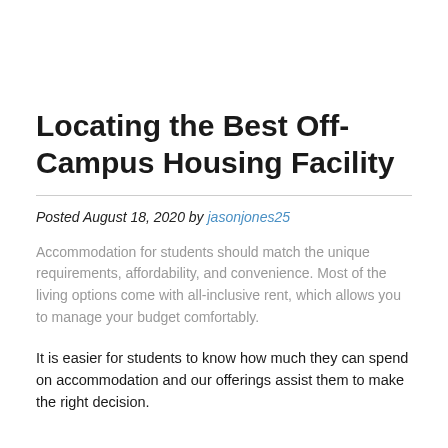Locating the Best Off-Campus Housing Facility
Posted August 18, 2020 by jasonjones25
Accommodation for students should match the unique requirements, affordability, and convenience. Most of the living options come with all-inclusive rent, which allows you to manage your budget comfortably.
It is easier for students to know how much they can spend on accommodation and our offerings assist them to make the right decision.